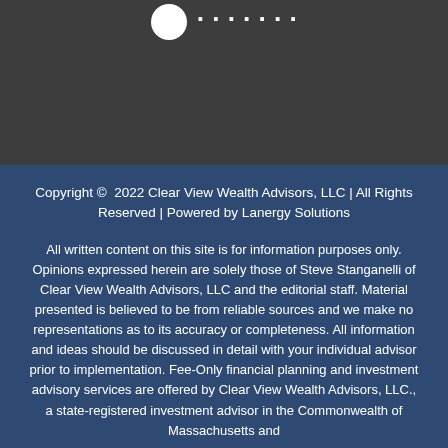Clear View Wealth Advisors (logo/header partial)
Copyright © 2022 Clear View Wealth Advisors, LLC | All Rights Reserved | Powered by Lanergy Solutions
All written content on this site is for information purposes only. Opinions expressed herein are solely those of Steve Stanganelli of Clear View Wealth Advisors, LLC and the editorial staff. Material presented is believed to be from reliable sources and we make no representations as to its accuracy or completeness. All information and ideas should be discussed in detail with your individual advisor prior to implementation. Fee-Only financial planning and investment advisory services are offered by Clear View Wealth Advisors, LLC., a state-registered investment advisor in the Commonwealth of Massachusetts and